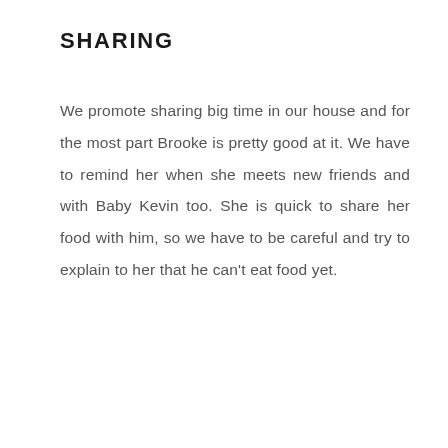SHARING
We promote sharing big time in our house and for the most part Brooke is pretty good at it. We have to remind her when she meets new friends and with Baby Kevin too. She is quick to share her food with him, so we have to be careful and try to explain to her that he can't eat food yet.